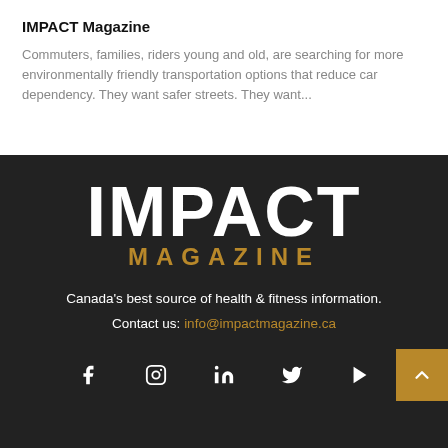IMPACT Magazine
Commuters, families, riders young and old, are searching for more environmentally friendly transportation options that reduce car dependency. They want safer streets. They want...
[Figure (logo): IMPACT MAGAZINE logo in white and gold on dark background]
Canada's best source of health & fitness information.
Contact us: info@impactmagazine.ca
[Figure (infographic): Social media icons: Facebook, Instagram, LinkedIn, Twitter, YouTube; back-to-top button in gold]